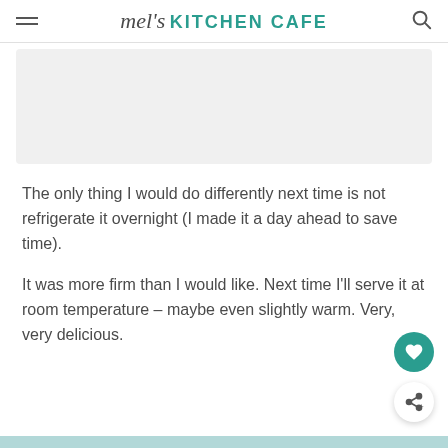mel's KITCHEN CAFE
[Figure (photo): Placeholder image area, light gray rectangle]
The only thing I would do differently next time is not refrigerate it overnight (I made it a day ahead to save time).
It was more firm than I would like. Next time I'll serve it at room temperature – maybe even slightly warm. Very, very delicious.